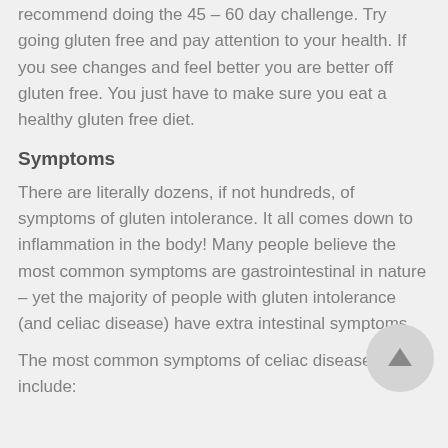recommend doing the 45 – 60 day challenge. Try going gluten free and pay attention to your health. If you see changes and feel better you are better off gluten free. You just have to make sure you eat a healthy gluten free diet.
Symptoms
There are literally dozens, if not hundreds, of symptoms of gluten intolerance. It all comes down to inflammation in the body! Many people believe the most common symptoms are gastrointestinal in nature – yet the majority of people with gluten intolerance (and celiac disease) have extra intestinal symptoms.
The most common symptoms of celiac disease include: